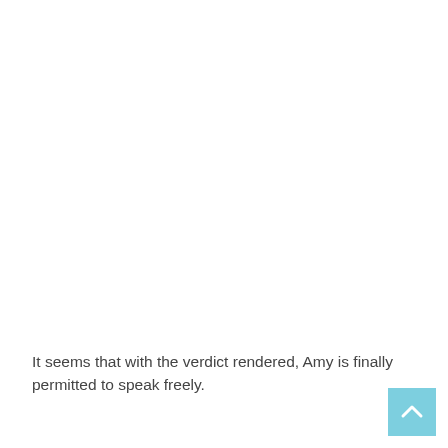It seems that with the verdict rendered, Amy is finally permitted to speak freely.
[Figure (other): Back-to-top navigation button (light blue square with upward-pointing chevron arrow)]